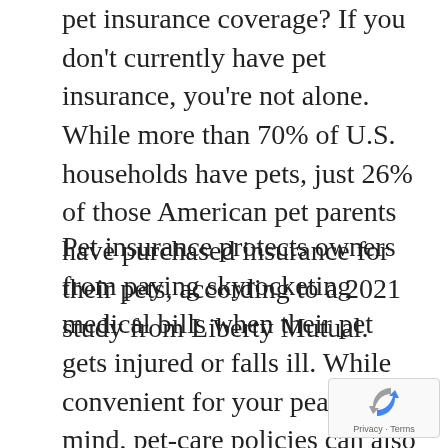pet insurance coverage? If you don't currently have pet insurance, you're not alone. While more than 70% of U.S. households have pets, just 26% of those American pet parents have purchased insurance for their pets, according to a 2021 study from Liberty Mutual.
Pet insurance protects owners from paying skyrocketing medical bills when their pet gets injured or falls ill. While convenient for your peace of mind, pet-care policies can also cost hundreds or even thousands of dollars a year. You can probably do without insurance if you're financially secure enough to pay a large sum of pocket for emergency pet care. But if you wouldn't be able to pay thousands for